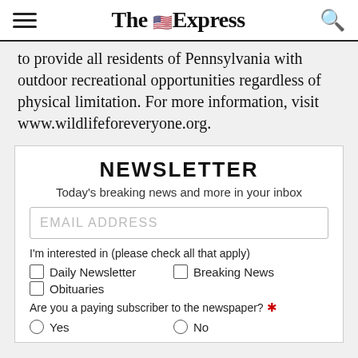The Express
to provide all residents of Pennsylvania with outdoor recreational opportunities regardless of physical limitation. For more information, visit www.wildlifeforeveryone.org.
NEWSLETTER
Today's breaking news and more in your inbox
EMAIL ADDRESS
I'm interested in (please check all that apply)
Daily Newsletter
Breaking News
Obituaries
Are you a paying subscriber to the newspaper? *
Yes
No